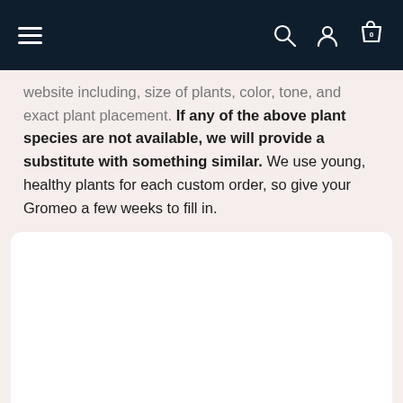Navigation bar with hamburger menu, search, account, and cart icons
website including, size of plants, color, tone, and exact plant placement. If any of the above plant species are not available, we will provide a substitute with something similar. We use young, healthy plants for each custom order, so give your Gromeo a few weeks to fill in.
[Figure (other): White rounded rectangle content area, empty/blank]